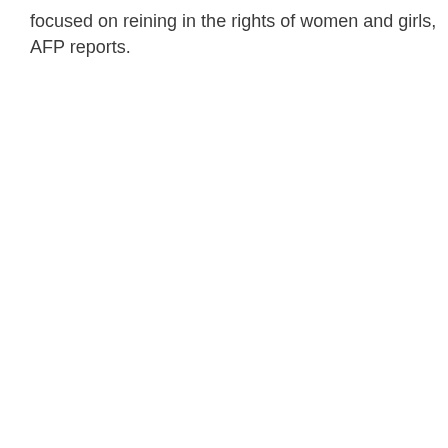focused on reining in the rights of women and girls, AFP reports.